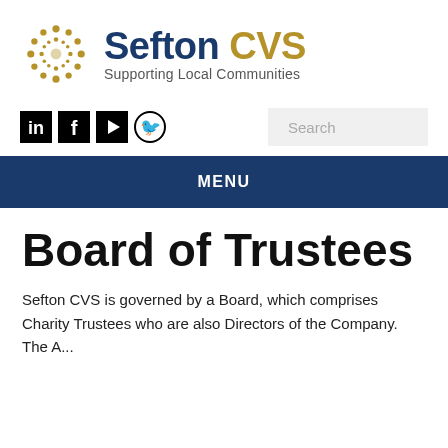[Figure (logo): Sefton CVS logo with circular sunburst icon, 'Sefton CVS' in blue and gold, and 'Supporting Local Communities' tagline]
[Figure (infographic): Social media icons: LinkedIn, Facebook, YouTube, Twitter]
[Figure (screenshot): Search input box with placeholder text 'Search']
MENU
Board of Trustees
Sefton CVS is governed by a Board, which comprises Charity Trustees who are also Directors of the Company. The A...